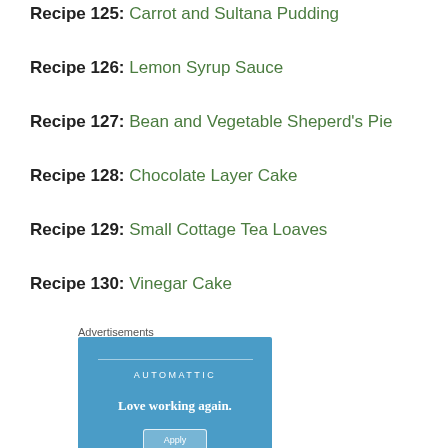Recipe 125: Carrot and Sultana Pudding
Recipe 126: Lemon Syrup Sauce
Recipe 127: Bean and Vegetable Sheperd's Pie
Recipe 128: Chocolate Layer Cake
Recipe 129: Small Cottage Tea Loaves
Recipe 130: Vinegar Cake
Advertisements
[Figure (other): Automattic advertisement banner with blue background, company name AUTOMATTIC, tagline 'Love working again.' and an Apply button]